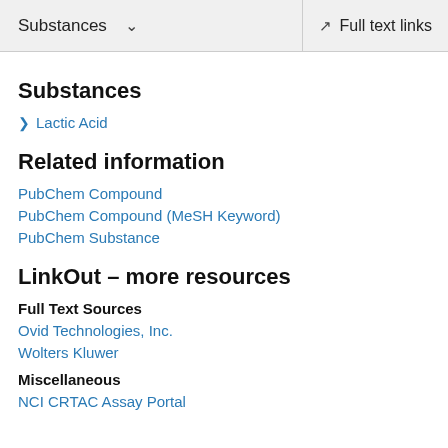Substances | Full text links
Substances
Lactic Acid
Related information
PubChem Compound
PubChem Compound (MeSH Keyword)
PubChem Substance
LinkOut – more resources
Full Text Sources
Ovid Technologies, Inc.
Wolters Kluwer
Miscellaneous
NCI CRTAC Assay Portal